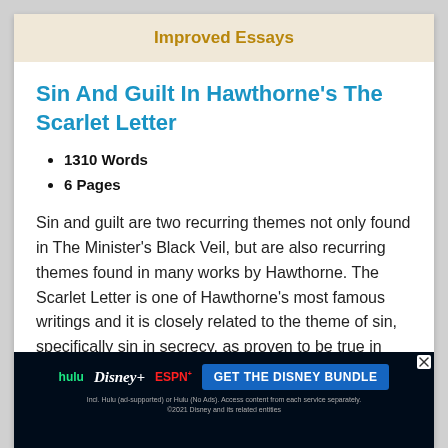Improved Essays
Sin And Guilt In Hawthorne's The Scarlet Letter
1310 Words
6 Pages
Sin and guilt are two recurring themes not only found in The Minister's Black Veil, but are also recurring themes found in many works by Hawthorne. The Scarlet Letter is one of Hawthorne's most famous writings and it is closely related to the theme of sin, specifically sin in secrecy, as proven to be true in
[Figure (other): Disney Bundle advertisement banner with Hulu, Disney+, ESPN+ logos and GET THE DISNEY BUNDLE call to action button]